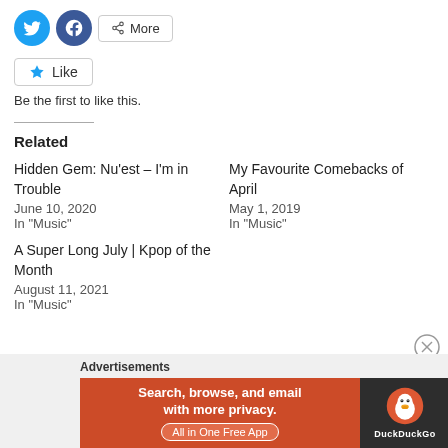[Figure (other): Social share buttons: Twitter (blue circle), Facebook (blue circle), More button with share icon]
[Figure (other): Like button with blue star icon]
Be the first to like this.
Related
Hidden Gem: Nu'est – I'm in Trouble
June 10, 2020
In "Music"
My Favourite Comebacks of April
May 1, 2019
In "Music"
A Super Long July | Kpop of the Month
August 11, 2021
In "Music"
Advertisements
[Figure (screenshot): DuckDuckGo advertisement banner: Search, browse, and email with more privacy. All in One Free App]